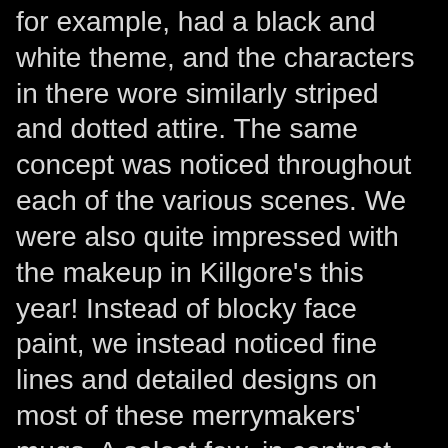for example, had a black and white theme, and the characters in there wore similarly striped and dotted attire. The same concept was noticed throughout each of the various scenes. We were also quite impressed with the makeup in Killgore's this year! Instead of blocky face paint, we instead noticed fine lines and detailed designs on most of these merrymakers' mugs. A select few, in contrast, had high-quality silicone masks that provided a complete and finished appearance.
Nightmare Factory:
There wasn't much to see in this one, other than a bit of makeup and the two